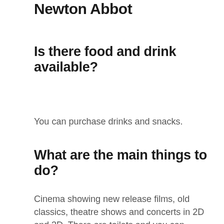Newton Abbot
Is there food and drink available?
You can purchase drinks and snacks.
What are the main things to do?
Cinema showing new release films, old classics, theatre shows and concerts in 2D and 3D. There are toilets and you can